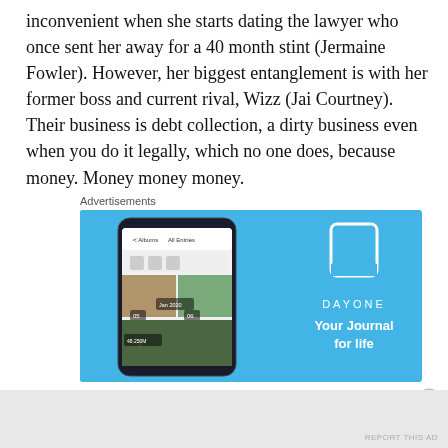inconvenient when she starts dating the lawyer who once sent her away for a 40 month stint (Jermaine Fowler). However, her biggest entanglement is with her former boss and current rival, Wizz (Jai Courtney). Their business is debt collection, a dirty business even when you do it legally, which no one does, because money. Money money money.
Advertisements
[Figure (photo): Advertisement for DayOne journal app showing a smartphone with the app open and the text 'DAYONE Your Journal for life' on a blue background]
Advertisements